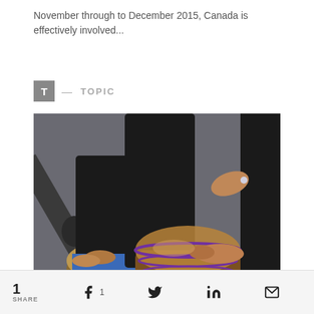November through to December 2015, Canada is effectively involved...
T — TOPIC
[Figure (photo): People playing djembe drums outdoors; hands visible on the drum heads, one person wearing a Rastafarian-colored strap]
1 SHARE | Facebook 1 | Twitter | LinkedIn | Email